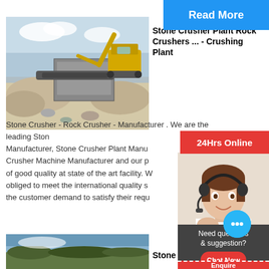[Figure (photo): Stone crusher plant with excavator and machinery at a mining/quarrying site, rocks and gravel visible]
[Figure (screenshot): Blue Read More button overlay in top right area]
Stone Crusher Plant Rock Crushers ... - Crushing Plant
Stone Crusher - Rock Crusher - Manufacturer . We are the leading Stone Manufacturer, Stone Crusher Plant Manufacturer, Crusher Machine Manufacturer and our products are of good quality at state of the art facility. We are obliged to meet the international quality standards and the customer demand to satisfy their requirements.
[Figure (infographic): 24Hrs Online red banner with chat agent photo (woman with headset), chat bubble icon, Need questions & suggestion? panel with Chat Now button]
[Figure (photo): Landscape/field photo at bottom left - second article image]
Stone